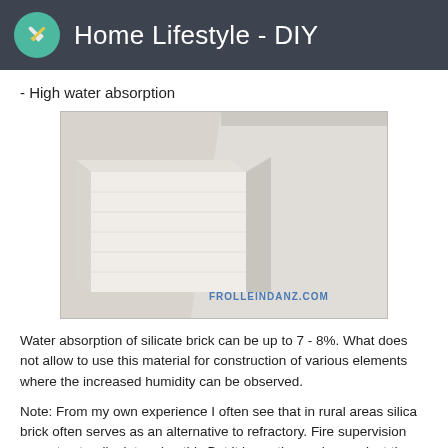Home Lifestyle - DIY
- High water absorption
[Figure (photo): Two white silicate/sand-lime bricks photographed close-up, showing their textured surfaces. Watermark reads FROLLEINDANZ.COM]
Water absorption of silicate brick can be up to 7 - 8%. What does not allow to use this material for construction of various elements where the increased humidity can be observed.
Note: From my own experience I often see that in rural areas silica brick often serves as an alternative to refractory. Fire supervision cannot naturally determine this.But it is worth warning against the use of such